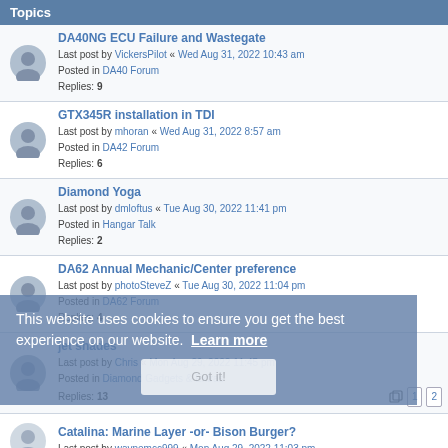Topics
DA40NG ECU Failure and Wastegate
Last post by VickersPilot « Wed Aug 31, 2022 10:43 am
Posted in DA40 Forum
Replies: 9
GTX345R installation in TDI
Last post by mhoran « Wed Aug 31, 2022 8:57 am
Posted in DA42 Forum
Replies: 6
Diamond Yoga
Last post by dmloftus « Tue Aug 30, 2022 11:41 pm
Posted in Hangar Talk
Replies: 2
DA62 Annual Mechanic/Center preference
Last post by photoSteveZ « Tue Aug 30, 2022 11:04 pm
Posted in DA62 Forum
Replies: 4
jet shades
Last post by Chris « Mon Aug 29, 2022 11:45 pm
Posted in Diamond Gadgets & Extras
Replies: 13
Catalina: Marine Layer -or- Bison Burger?
Last post by waynemcc999 « Mon Aug 29, 2022 11:03 pm
This website uses cookies to ensure you get the best experience on our website. Learn more